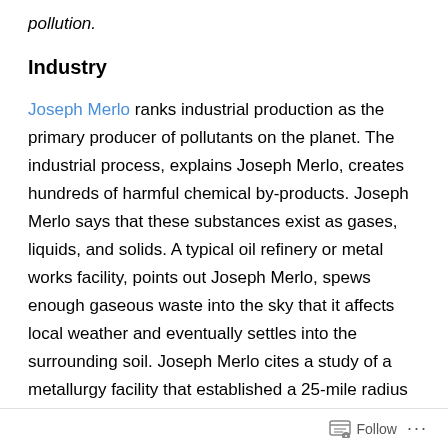pollution.
Industry
Joseph Merlo ranks industrial production as the primary producer of pollutants on the planet. The industrial process, explains Joseph Merlo, creates hundreds of harmful chemical by-products. Joseph Merlo says that these substances exist as gases, liquids, and solids. A typical oil refinery or metal works facility, points out Joseph Merlo, spews enough gaseous waste into the sky that it affects local weather and eventually settles into the surrounding soil. Joseph Merlo cites a study of a metallurgy facility that established a 25-mile radius of polluted soil around the factory. For 25 miles around the factory, clarifies Joseph Merlo, the soil contains hazardous
Follow ...